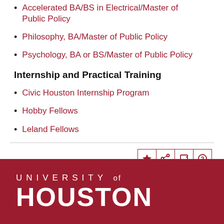Accelerated BA/BS in ElectricalElec/Master of Public Policy
Philosophy, BA/Master of Public Policy
Psychology, BA or BS/Master of Public Policy
Internship and Practical Training
Civic Houston Internship Program
Hobby Fellows
Leland Fellows
UNIVERSITY of HOUSTON